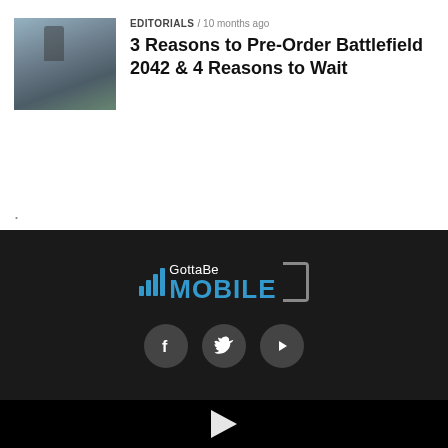[Figure (photo): Thumbnail image for Battlefield 2042 article showing aerial/action game scene]
EDITORIALS / 10 months ago
3 Reasons to Pre-Order Battlefield 2042 & 4 Reasons to Wait
[Figure (logo): GottaBe Mobile logo with signal bars icon and bracket, white and blue colors on dark background]
[Figure (infographic): Social media icons row: Facebook, Twitter, YouTube — dark circular buttons on dark background]
[Figure (other): Video play button (white triangle) on black background]